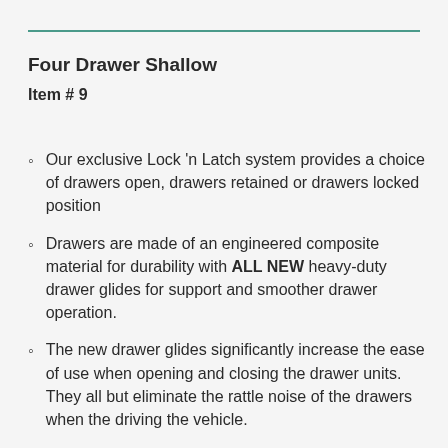Four Drawer Shallow
Item # 9
Our exclusive Lock 'n Latch system provides a choice of drawers open, drawers retained or drawers locked position
Drawers are made of an engineered composite material for durability with ALL NEW heavy-duty drawer glides for support and smoother drawer operation.
The new drawer glides significantly increase the ease of use when opening and closing the drawer units. They all but eliminate the rattle noise of the drawers when the driving the vehicle.